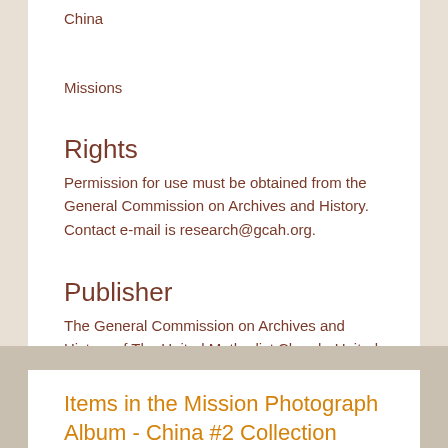China
Missions
Rights
Permission for use must be obtained from the General Commission on Archives and History. Contact e-mail is research@gcah.org.
Publisher
The General Commission on Archives and History of The United Methodist Church. United Methodist Archives and History Center, Madison, New Jersey
Items in the Mission Photograph Album - China #2 Collection